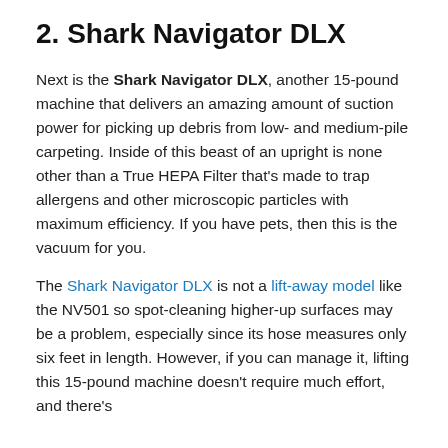2. Shark Navigator DLX
Next is the Shark Navigator DLX, another 15-pound machine that delivers an amazing amount of suction power for picking up debris from low- and medium-pile carpeting. Inside of this beast of an upright is none other than a True HEPA Filter that's made to trap allergens and other microscopic particles with maximum efficiency. If you have pets, then this is the vacuum for you.
The Shark Navigator DLX is not a lift-away model like the NV501 so spot-cleaning higher-up surfaces may be a problem, especially since its hose measures only six feet in length. However, if you can manage it, lifting this 15-pound machine doesn't require much effort, and there's